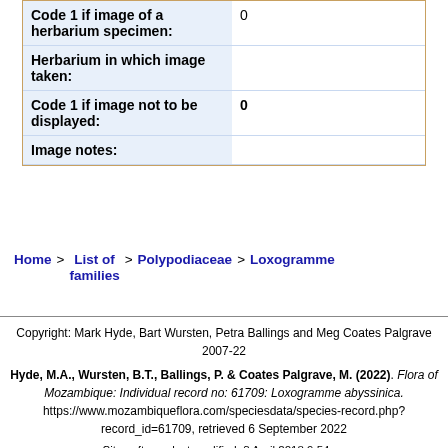| Field | Value |
| --- | --- |
| Code 1 if image of a herbarium specimen: | 0 |
| Herbarium in which image taken: |  |
| Code 1 if image not to be displayed: | 0 |
| Image notes: |  |
Home > List of families > Polypodiaceae > Loxogramme
Copyright: Mark Hyde, Bart Wursten, Petra Ballings and Meg Coates Palgrave 2007-22
Hyde, M.A., Wursten, B.T., Ballings, P. & Coates Palgrave, M. (2022). Flora of Mozambique: Individual record no: 61709: Loxogramme abyssinica. https://www.mozambiqueflora.com/speciesdata/species-record.php?record_id=61709, retrieved 6 September 2022
Site software last modified: 3 April 2018 9:54pm
Terms of use